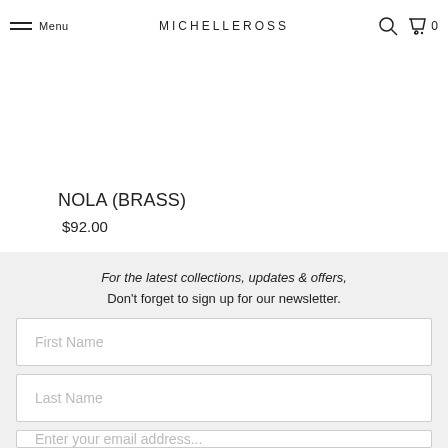Menu | MICHELLEROSS | 0
NOLA (BRASS)
$92.00
For the latest collections, updates & offers, Don't forget to sign up for our newsletter.
First Name
Last Name
Enter your email address...